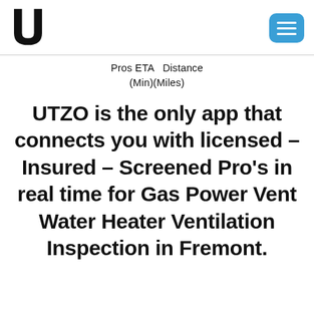UTZO logo and navigation menu
Pros ETA  Distance
(Min)(Miles)
UTZO is the only app that connects you with licensed – Insured – Screened Pro's in real time for Gas Power Vent Water Heater Ventilation Inspection in Fremont.